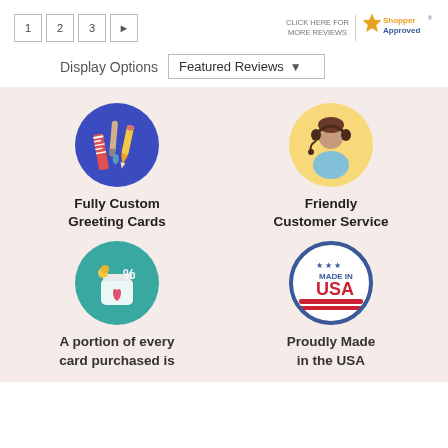[Figure (screenshot): Pagination buttons showing 1, 2, 3 and a right arrow, plus Shopper Approved badge with 'Click here for more reviews' text]
Display Options  Featured Reviews ▾
[Figure (illustration): Circular icon with ruler, paintbrush, and pencil on blue background]
[Figure (illustration): Circular icon with customer service representative wearing headset on yellow background]
Fully Custom Greeting Cards
Friendly Customer Service
[Figure (illustration): Circular teal icon with piggy bank, coins, percent sign and heart]
[Figure (illustration): Circular Made in USA badge with stars and red/white stripes]
A portion of every card purchased is
Proudly Made in the USA